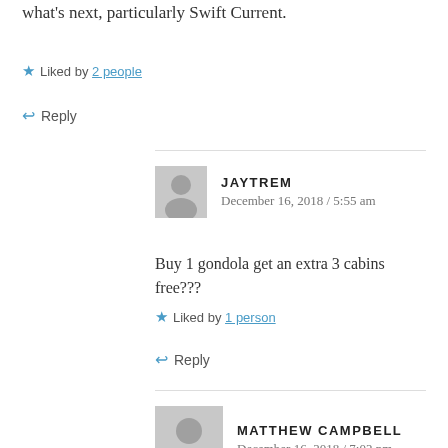what's next, particularly Swift Current.
Liked by 2 people
Reply
JAYTREM
December 16, 2018 / 5:55 am
Buy 1 gondola get an extra 3 cabins free???
Liked by 1 person
Reply
MATTHEW CAMPBELL
December 16, 2018 / 7:02 pm